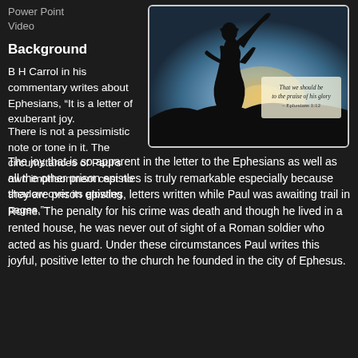Power Point
Video
Background
B H Carrol in his commentary writes about Ephesians, “It is a letter of exuberant joy. There is not a pessimistic note or tone in it. The circumstances of Paul’s own imprisonment cast no shadow over its glowing pages.”
[Figure (photo): Silhouette of a person blowing a ram's horn (shofar) against a sunset sky, with overlaid text: 'That we should be to the praise of his glory - Ephesians 1:12']
The joy that is so apparent in the letter to the Ephesians as well as all the other prison epistles is truly remarkable especially because they are prison epistles, letters written while Paul was awaiting trail in Rome. The penalty for his crime was death and though he lived in a rented house, he was never out of sight of a Roman soldier who acted as his guard. Under these circumstances Paul writes this joyful, positive letter to the church he founded in the city of Ephesus.